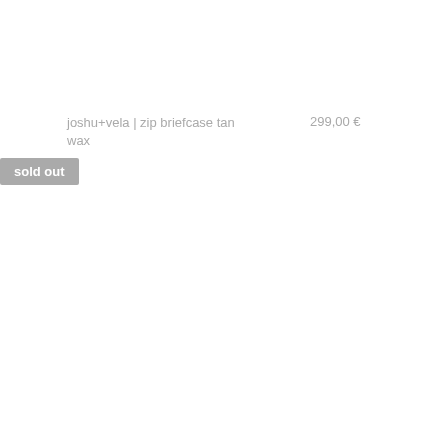joshu+vela | zip briefcase tan wax
299,00 €
sold out